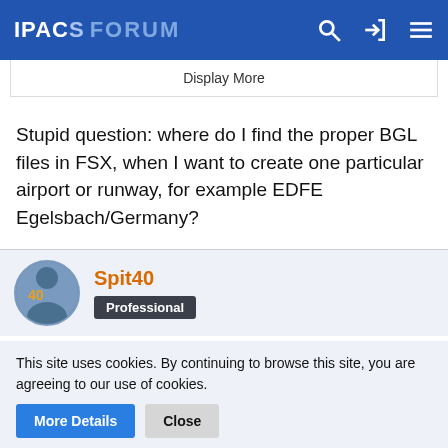IPACS FORUM
Display More
Stupid question: where do I find the proper BGL files in FSX, when I want to create one particular airport or runway, for example EDFE Egelsbach/Germany?
Spit40
Professional
Mar 31st 2019
This site uses cookies. By continuing to browse this site, you are agreeing to our use of cookies.